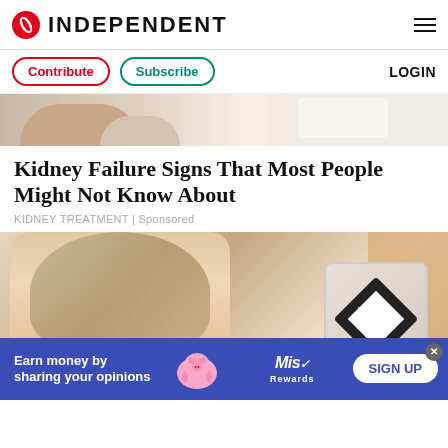INDEPENDENT
Contribute | Subscribe | LOGIN
[Figure (photo): Partial view of people sitting, one wearing white shirt, cropped top portion]
Kidney Failure Signs That Most People Might Not Know About
KIDNEY TREATMENT | Sponsored
[Figure (photo): Woman with long blonde wavy hair and tattoos drinking from a cup, holding a Kachava branded bag]
Earn money by sharing your opinions  SIGN UP  Mis Rewards